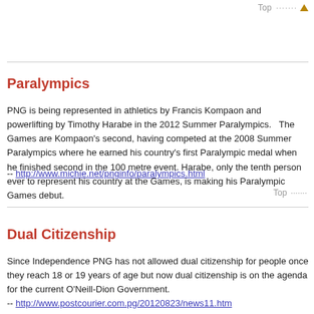Top ↑
Paralympics
PNG is being represented in athletics by Francis Kompaon and powerlifting by Timothy Harabe in the 2012 Summer Paralympics.   The Games are Kompaon's second, having competed at the 2008 Summer Paralympics where he earned his country's first Paralympic medal when he finished second in the 100 metre event. Harabe, only the tenth person ever to represent his country at the Games, is making his Paralympic Games debut.
-- http://www.michie.net/pnginfo/paralympics.html
Top ↑
Dual Citizenship
Since Independence PNG has not allowed dual citizenship for people once they reach 18 or 19 years of age but now dual citizenship is on the agenda for the current O'Neill-Dion Government.
-- http://www.postcourier.com.pg/20120823/news11.htm